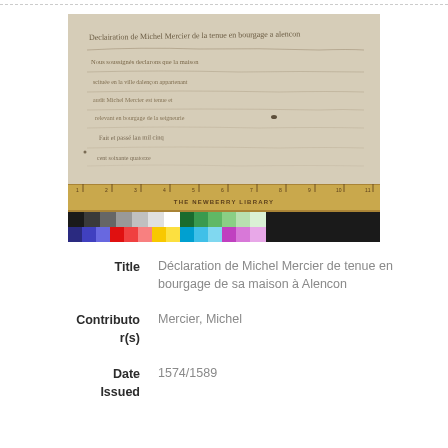[Figure (photo): Photograph of a handwritten historical manuscript document on aged parchment, with a color calibration chart, grayscale strip, and a ruler labeled 'THE NEWBERRY LIBRARY' shown below the document for archival reference.]
Title: Déclaration de Michel Mercier de tenue en bourgage de sa maison à Alencon
Contributor(s): Mercier, Michel
Date Issued: 1574/1589